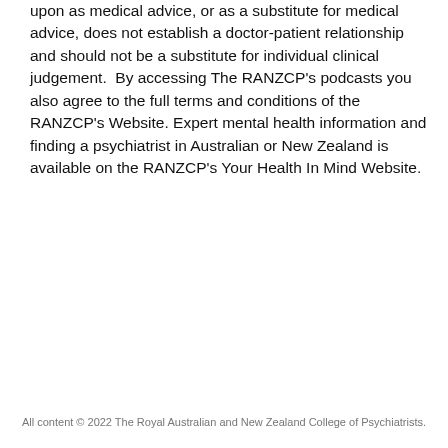upon as medical advice, or as a substitute for medical advice, does not establish a doctor-patient relationship and should not be a substitute for individual clinical judgement.  By accessing The RANZCP's podcasts you also agree to the full terms and conditions of the RANZCP's Website. Expert mental health information and finding a psychiatrist in Australian or New Zealand is available on the RANZCP's Your Health In Mind Website.
All content © 2022 The Royal Australian and New Zealand College of Psychiatrists.